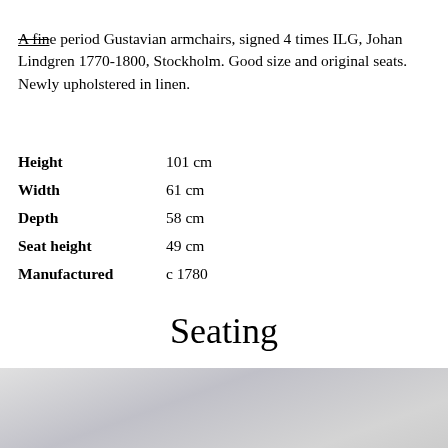A fine period Gustavian armchairs, signed 4 times ILG, Johan Lindgren 1770-1800, Stockholm. Good size and original seats. Newly upholstered in linen.
| Height | 101 cm |
| Width | 61 cm |
| Depth | 58 cm |
| Seat height | 49 cm |
| Manufactured | c 1780 |
Seating
[Figure (photo): Bottom portion of a photograph showing chairs, light grey/silver toned background visible at the top of the photo crop.]